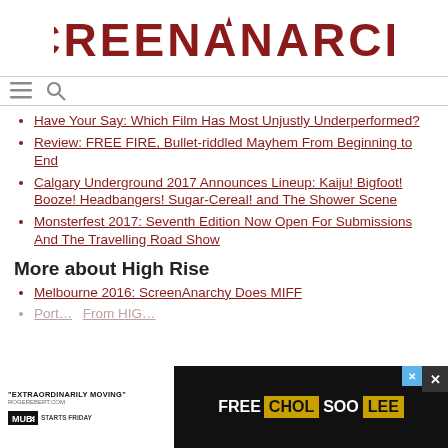SCREENANARCHY
Have Your Say: Which Film Has Most Unjustly Underperformed?
Review: FREE FIRE, Bullet-riddled Mayhem From Beginning to End
Calgary Underground 2017 Announces Lineup: Kaiju! Bigfoot! Booze! Headbangers! Sugar-Cereal! and The Shower Scene
Monsterfest 2017: Seventh Edition Now Open For Submissions And The Travelling Road Show
More about High Rise
Melbourne 2016: ScreenAnarchy Does MIFF
Port... From HIG...
[Figure (other): Advertisement banner for Free Chol Soo Lee on MUBI, with quote 'EXTRAORDINARILY MOVING' from RogerEbert.com, STARTS FRIDAY]